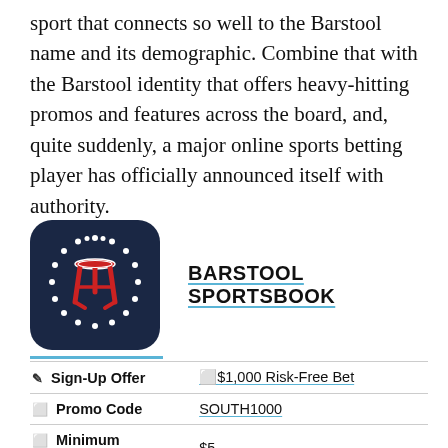sport that connects so well to the Barstool name and its demographic. Combine that with the Barstool identity that offers heavy-hitting promos and features across the board, and, quite suddenly, a major online sports betting player has officially announced itself with authority.
[Figure (logo): Barstool Sportsbook app icon — dark navy rounded square with a red barstool chair icon surrounded by white stars in a circle]
BARSTOOL SPORTSBOOK
| Label | Value |
| --- | --- |
| Sign-Up Offer | $1,000 Risk-Free Bet |
| Promo Code | SOUTH1000 |
| Minimum Deposit | $5 |